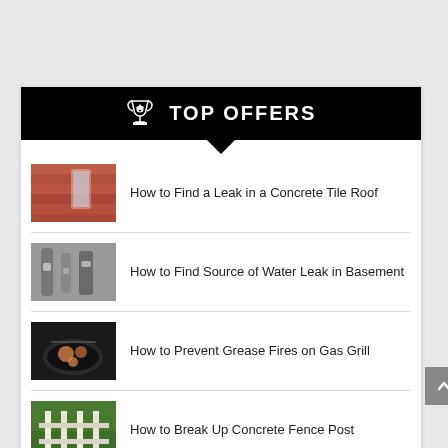🏆 TOP OFFERS
How to Find a Leak in a Concrete Tile Roof
How to Find Source of Water Leak in Basement
How to Prevent Grease Fires on Gas Grill
How to Break Up Concrete Fence Post